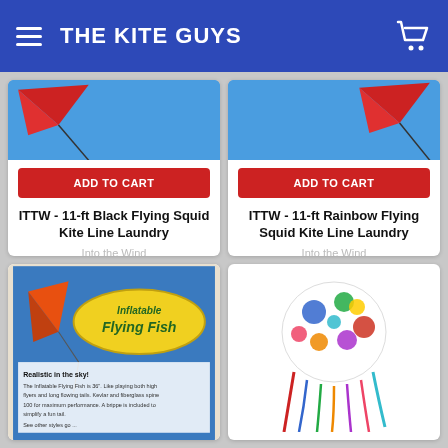THE KITE GUYS
[Figure (screenshot): Product card: ITTW - 11-ft Black Flying Squid Kite Line Laundry. Image shows partial kite on blue sky background. ADD TO CART red button. Brand: Into the Wind. Price: $89.00]
[Figure (screenshot): Product card: ITTW - 11-ft Rainbow Flying Squid Kite Line Laundry. Image shows partial kite on blue sky background. ADD TO CART red button. Brand: Into the Wind. Price: $89.00]
[Figure (screenshot): Product card bottom-left: Flying Fish inflatable kite product with packaging image showing Flying Fish logo and descriptive text.]
[Figure (screenshot): Product card bottom-right: Colorful jellyfish-style kite with polka dots and streamers.]